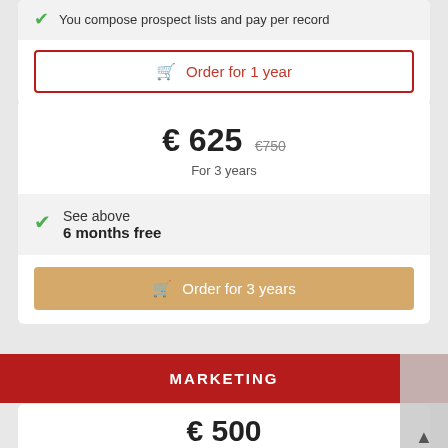You compose prospect lists and pay per record
Order for 1 year
€ 625  €750  For 3 years
See above
6 months free
Order for 3 years
MARKETING
€ 500